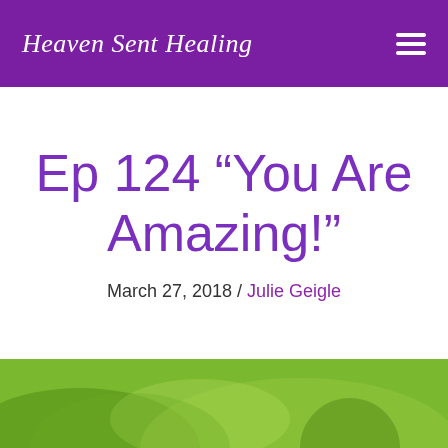Heaven Sent Healing
Ep 124 “You Are Amazing!”
March 27, 2018 / Julie Geigle
[Figure (photo): Green nature/plant photo at the bottom of the page]